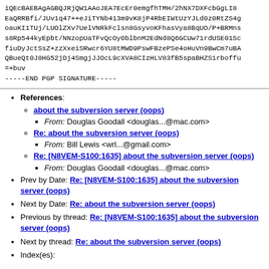iQEcBAEBAgAGBQJRjQW1AAoJEA7EcEr0emgfhTMH/2hNX7DXFcbGgLI8
EaQRRBfi/JUv1q47++eJiTYNb413m9vK8jP4RbEIWtUzYJLd0z0RtZS4g
oauKI1TUj/LUOlZXv7UelVNRkFclsn8GsyvoKFhasVya8BqUO/P+BRMns
s8Rp544kyEpbt/NNzopUaTFvQcOyOblbnM2EdNd8Q6GCUw71rdUSE01Sc
fiuDyJctSsZ+zzXxeiSRwcr6YU8tMWD9PswFBzePSe4oHuVn9BwCm7uBA
QBueQt0J8HG52jDj4SmgjJJOcL9cXVA8CIzHLV83fB5spaBHZS1rboffu
=+buv
-----END PGP SIGNATURE-----
References:
about the subversion server (oops)
From: Douglas Goodall <douglas...@mac.com>
Re: about the subversion server (oops)
From: Bill Lewis <wrl...@gmail.com>
Re: [N8VEM-S100:1635] about the subversion server (oops)
From: Douglas Goodall <douglas...@mac.com>
Prev by Date: Re: [N8VEM-S100:1635] about the subversion server (oops)
Next by Date: Re: about the subversion server (oops)
Previous by thread: Re: [N8VEM-S100:1635] about the subversion server (oops)
Next by thread: Re: about the subversion server (oops)
Index(es):